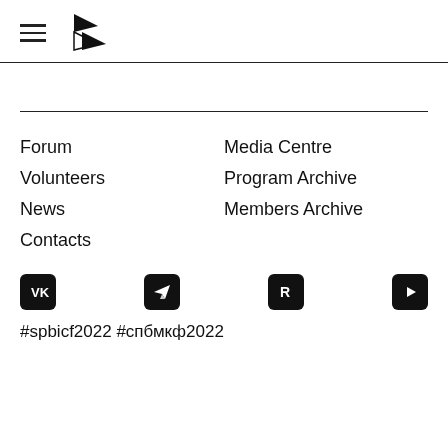[Figure (logo): Hamburger menu icon and triangular logo mark (two black triangles forming an arrow/flag shape)]
Forum
Volunteers
News
Contacts
Media Centre
Program Archive
Members Archive
[Figure (logo): Four social media icons in black rounded-square buttons: VK, Telegram, Rutube (R), YouTube]
#spbicf2022 #спбмкф2022